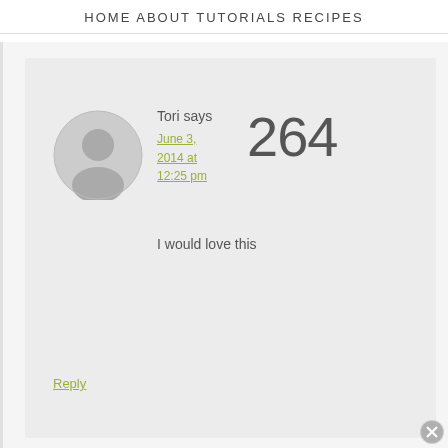HOME   ABOUT   TUTORIALS   RECIPES
[Figure (illustration): User avatar circle with silhouette icon, gray background]
Tori says
June 3, 2014 at 12:25 pm
264
I would love this
Reply
Tawny says
[Figure (illustration): Partial user avatar circle at bottom of page]